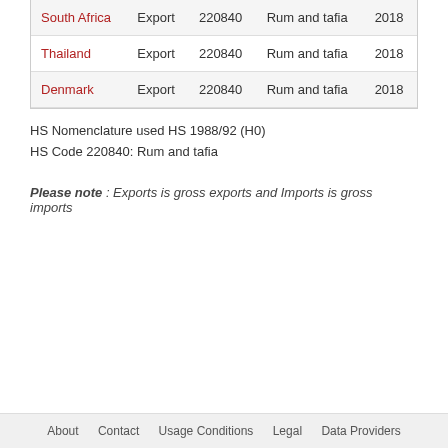| Country | Trade Flow | HS Code | Description | Year |
| --- | --- | --- | --- | --- |
| South Africa | Export | 220840 | Rum and tafia | 2018 |
| Thailand | Export | 220840 | Rum and tafia | 2018 |
| Denmark | Export | 220840 | Rum and tafia | 2018 |
HS Nomenclature used HS 1988/92 (H0)
HS Code 220840: Rum and tafia
Please note : Exports is gross exports and Imports is gross imports
About   Contact   Usage Conditions   Legal   Data Providers